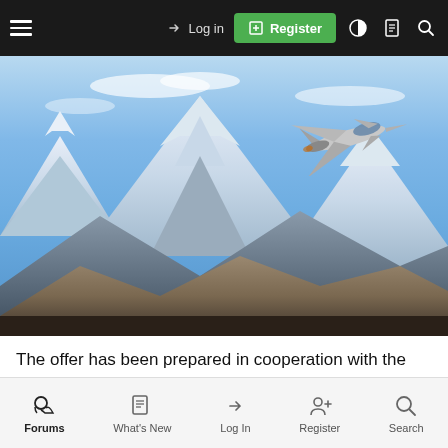≡  → Log in  ⊞ Register  ◐  🗋  🔍
[Figure (photo): A Eurofighter Typhoon jet aircraft flying over snow-capped alpine mountains against a blue sky with light clouds.]
The offer has been prepared in cooperation with the other Eurofighter nations as well as the industrial partners Leonardo and BAE Systems, and meets the requirements of the so called new
Forums  What's New  Log In  Register  Search